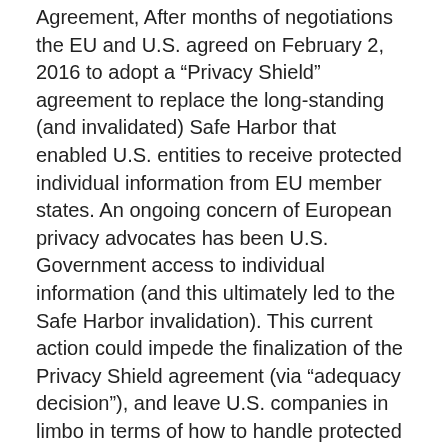Agreement,  After months of negotiations the EU and U.S. agreed on February 2, 2016 to adopt a “Privacy Shield” agreement to replace the long-standing (and invalidated) Safe Harbor that enabled U.S. entities to receive protected individual information from EU member states.  An ongoing concern of European privacy advocates has been U.S. Government access to individual information (and this ultimately led to the Safe Harbor invalidation).  This current action could impede the finalization of the Privacy Shield agreement (via “adequacy decision”), and leave U.S. companies in limbo in terms of how to handle protected individual information from the EU states.
This case, however it turns out, has ramifications for the digital privacy legal milieu far beyond the Iphone.